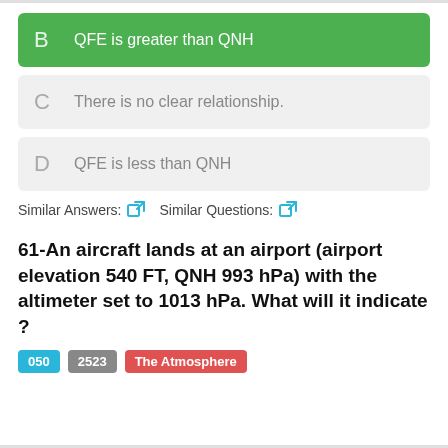B  QFE is greater than QNH
C  There is no clear relationship.
D  QFE is less than QNH
Similar Answers:  Similar Questions:
61-An aircraft lands at an airport (airport elevation 540 FT, QNH 993 hPa) with the altimeter set to 1013 hPa. What will it indicate ?
050  2523  The Atmosphere